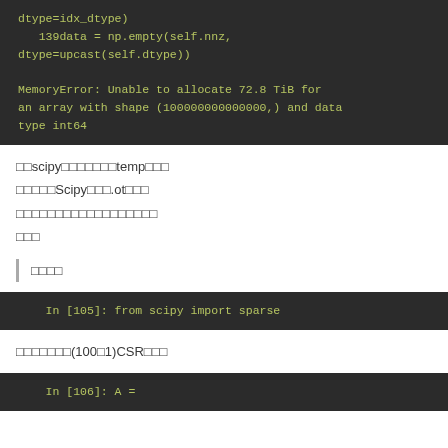[Figure (screenshot): Dark terminal/code block showing Python code: '139data = np.empty(self.nnz, dtype=upcast(self.dtype))' followed by error 'MemoryError: Unable to allocate 72.8 TiB for an array with shape (100000000000000,) and data type int64']
□□scipy□□□□□□□temp□□□
□□□□□Scipy□□□.ot□□□
□□□□□□□□□□□□□□□□□□
□□□
□□□□
[Figure (screenshot): Dark code block: 'In [105]: from scipy import sparse']
□□□□□□□(100□1)CSR□□□
[Figure (screenshot): Dark code block: 'In [106]: A =']